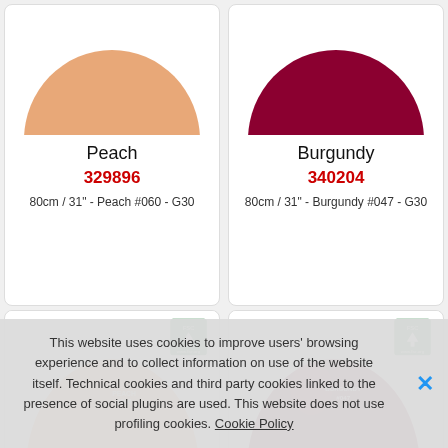[Figure (photo): Peach colored large balloon (top portion visible), circular shape]
Peach
329896
80cm / 31" - Peach #060 - G30
[Figure (photo): Burgundy colored large balloon (top portion visible), circular shape]
Burgundy
340204
80cm / 31" - Burgundy #047 - G30
[Figure (photo): Peach balloon product box photo with G logo and FSC certification badge]
[Figure (photo): Burgundy balloon product box photo with G logo and FSC certification badge]
This website uses cookies to improve users' browsing experience and to collect information on use of the website itself. Technical cookies and third party cookies linked to the presence of social plugins are used. This website does not use profiling cookies. Cookie Policy